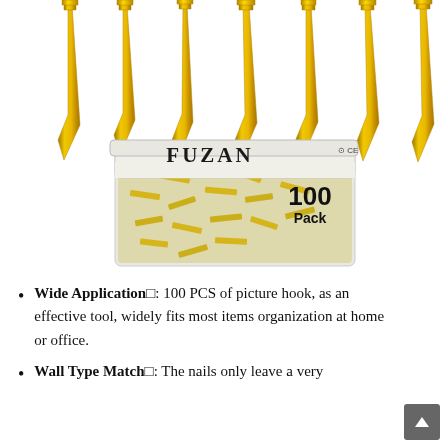[Figure (photo): Product photo showing gold metallic picture hooks (T-shaped, nail-style) displayed at top, and below them a clear plastic storage box labeled FUZAN containing 100 gold picture hooks/nails, with '100 Pack' text on the box.]
Wide Application□: 100 PCS of picture hook, as an effective tool, widely fits most items organization at home or office.
Wall Type Match□: The nails only leave a very